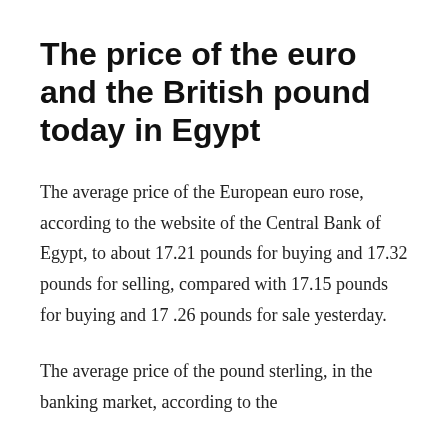The price of the euro and the British pound today in Egypt
The average price of the European euro rose, according to the website of the Central Bank of Egypt, to about 17.21 pounds for buying and 17.32 pounds for selling, compared with 17.15 pounds for buying and 17 .26 pounds for sale yesterday.
The average price of the pound sterling, in the banking market, according to the